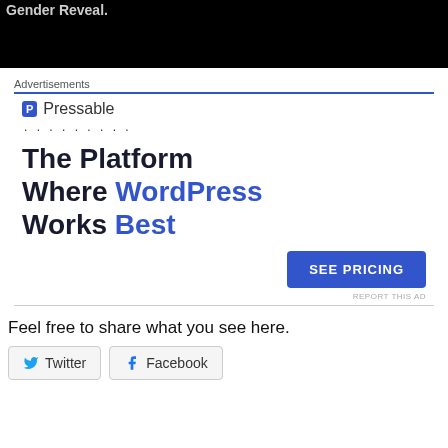[Figure (screenshot): Black video player area with partial text 'Gender Reveal.' visible at top in light gray]
Advertisements
[Figure (infographic): Pressable advertisement. Header with Pressable logo and name, dotted line, headline reading 'The Platform Where WordPress Works Best', blue 'SEE PRICING' button, and 'REPORT THIS AD' link.]
Feel free to share what you see here.
Twitter
Facebook